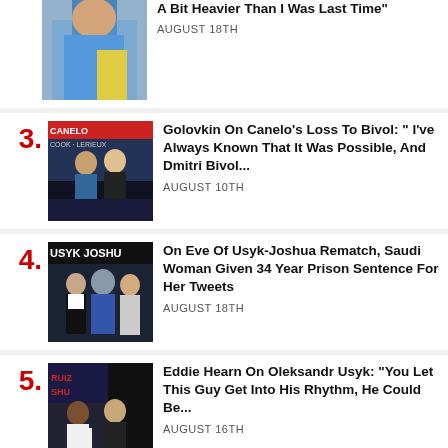[Figure (photo): Partial photo of a boxer in a blue/yellow shirt at top of page]
A Bit Heavier Than I Was Last Time"
AUGUST 18TH
3.
[Figure (photo): Canelo fight poster/weigh-in photo with text CANELO visible]
Golovkin On Canelo's Loss To Bivol: " I've Always Known That It Was Possible, And Dmitri Bivol...
AUGUST 10TH
4.
[Figure (photo): Usyk Joshua press conference or weigh-in photo with text USYK JOSHU visible]
On Eve Of Usyk-Joshua Rematch, Saudi Woman Given 34 Year Prison Sentence For Her Tweets
AUGUST 18TH
5.
[Figure (photo): Eddie Hearn with Anthony Joshua at Ruiz Joshua press conference]
Eddie Hearn On Oleksandr Usyk: "You Let This Guy Get Into His Rhythm, He Could Be...
AUGUST 16TH